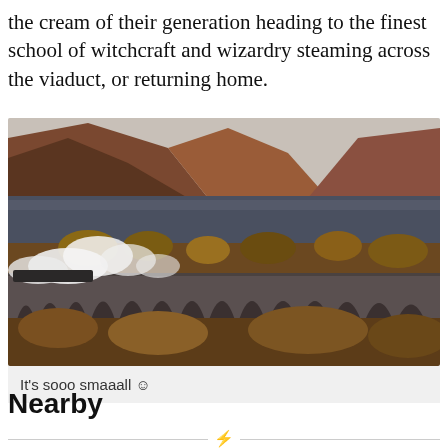the cream of their generation heading to the finest school of witchcraft and wizardry steaming across the viaduct, or returning home.
[Figure (photo): A steam train crossing a stone viaduct with arches, billowing white steam, set against a dramatic landscape of reddish-brown mountains and a loch in the background. The scene resembles the Glenfinnan Viaduct in Scotland.]
It's sooo smaaall ☺
Nearby